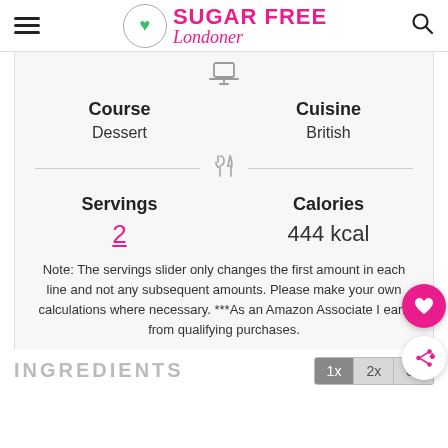Sugar Free Londoner
Course: Dessert | Cuisine: British
Servings: 2 | Calories: 444 kcal
Note: The servings slider only changes the first amount in each line and not any subsequent amounts. Please make your own calculations where necessary. ***As an Amazon Associate I earn from qualifying purchases.
INGREDIENTS